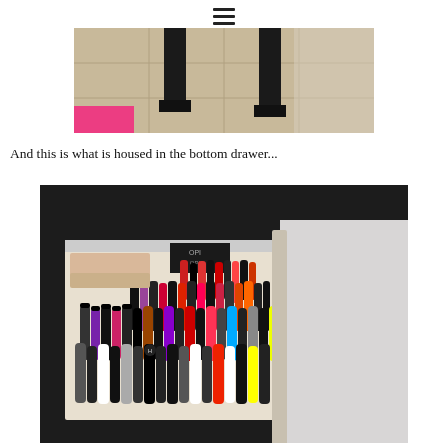[Figure (photo): Top portion of a photo showing legs of a dark furniture piece (dresser/table) on a tiled floor with a pink item visible]
And this is what is housed in the bottom drawer...
[Figure (photo): An open bottom drawer of a dark dresser filled with many nail polish bottles of various colors and brands including OPI]